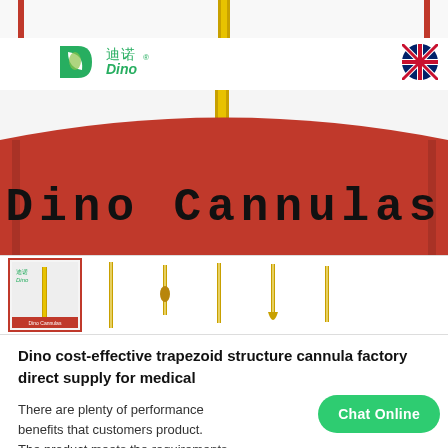[Figure (screenshot): Dino medical company website header with logo showing Chinese characters 迪诺 and Dino brand name with green leaf D icon, plus UK flag icon top right]
[Figure (photo): Hero banner showing red background with Dino Cannulas text in large monospace-style font, with gold/yellow cannula rod visible at top]
[Figure (photo): Thumbnail strip showing 6 product images of various cannulas, first thumbnail selected with red border]
Dino cost-effective trapezoid structure cannula factory direct supply for medical
There are plenty of performance benefits that customers product. The product meets the requirements of biocompatibility and biostability
[Figure (other): Chat Online green rounded button overlay]